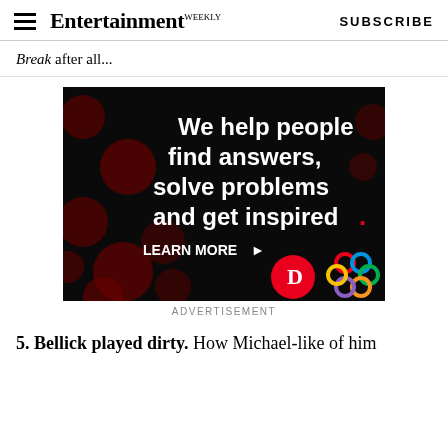Entertainment Weekly | SUBSCRIBE
Break after all...
[Figure (infographic): Advertisement banner with dark background and red bokeh circles. Text reads: 'We help people find answers, solve problems and get inspired.' with a red dot at the end. Below: 'LEARN MORE >' with a red circle containing a 'D' logo and a colorful interlocking knot logo.]
ADVERTISEMENT
5. Bellick played dirty. How Michael-like of him